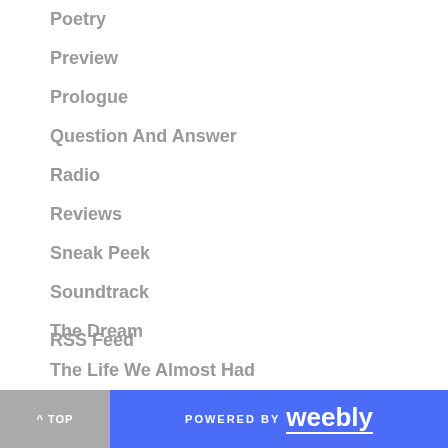Poetry
Preview
Prologue
Question And Answer
Radio
Reviews
Sneak Peek
Soundtrack
The Dream
The Life We Almost Had
Trailer
Visits
When Cicadas Cry
RSS Feed
^ TOP   POWERED BY weebly